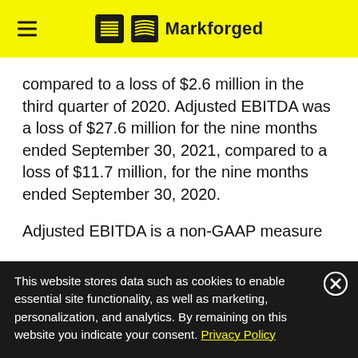Markforged
compared to a loss of $2.6 million in the third quarter of 2020. Adjusted EBITDA was a loss of $27.6 million for the nine months ended September 30, 2021, compared to a loss of $11.7 million, for the nine months ended September 30, 2020.
Adjusted EBITDA is a non-GAAP measure
This website stores data such as cookies to enable essential site functionality, as well as marketing, personalization, and analytics. By remaining on this website you indicate your consent. Privacy Policy